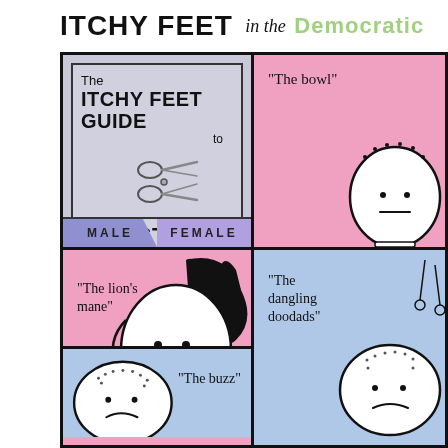ITCHY FEET in the Democratic Republic...
[Figure (illustration): Comic panel 1 (top-left): The Itchy Feet Guide to Hairstyles in the DRC - cover panel with scissors illustration, MALE/FEMALE bar at bottom]
[Figure (illustration): Comic panel 2 (top-right): pink background with 'The bowl' label and character illustration]
[Figure (illustration): Comic panel 3 (bottom-left): pink background with 'The lion's mane' label and character with big hair, lower section shows buzz cut character with 'The buzz' label]
[Figure (illustration): Comic panel 4 (bottom-right): blue-purple background with 'The dangling doodads' label and character illustration]